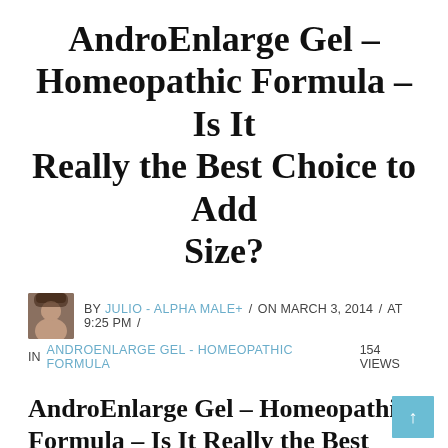AndroEnlarge Gel – Homeopathic Formula – Is It Really the Best Choice to Add Size?
BY JULIO - ALPHA MALE+ / ON MARCH 3, 2014 / AT 9:25 PM / IN ANDROENLARGE GEL - HOMEOPATHIC FORMULA   154 VIEWS
AndroEnlarge Gel – Homeopathic Formula – Is It Really the Best Choice to Add Size?
We have done a review on the AndroEnlarge pills and we are comparing them with the help of the...